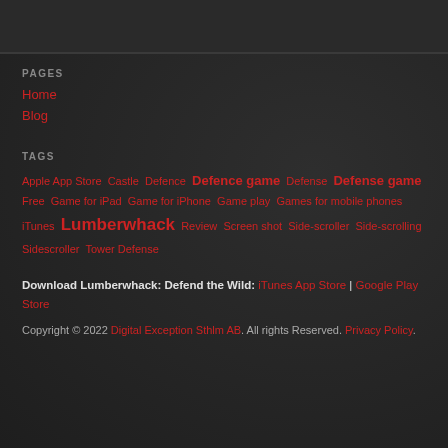PAGES
Home
Blog
TAGS
Apple App Store  Castle  Defence  Defence game  Defense  Defense game  Free  Game for iPad  Game for iPhone  Game play  Games for mobile phones  iTunes  Lumberwhack  Review  Screen shot  Side-scroller  Side-scrolling  Sidescroller  Tower Defense
Download Lumberwhack: Defend the Wild: iTunes App Store | Google Play Store
Copyright © 2022 Digital Exception Sthlm AB. All rights Reserved. Privacy Policy.